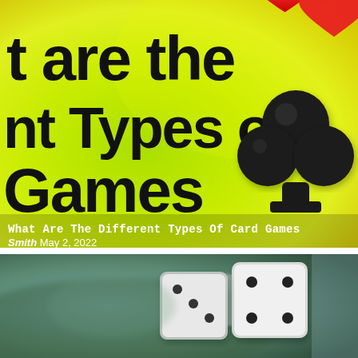[Figure (photo): Green gradient background with large bold black text showing partial title 't are the nt Types of Games', a 3D black club card suit symbol on the right, and a red heart symbol at top right. White text overlay at bottom reads 'What Are The Different Types Of Card Games' with author 'Smith May 2, 2022'.]
What Are The Different Types Of Card Games
Smith May 2, 2022
[Figure (photo): Blurred photo of two white dice on a green surface, shot from a low angle.]